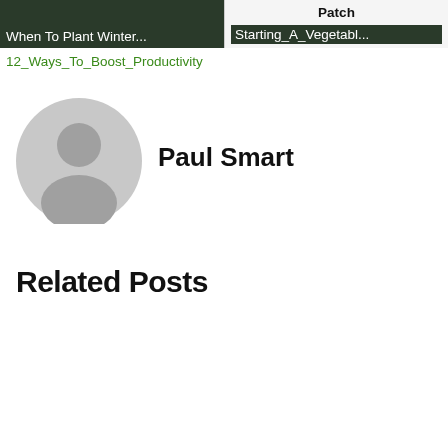[Figure (screenshot): Two thumbnail images side by side: left shows a dark garden photo with caption 'When To Plant Winter...', right shows a card with 'Patch' label and caption 'Starting_A_Vegetabl...']
12_Ways_To_Boost_Productivity
[Figure (illustration): Default user avatar - circular grey silhouette of a person]
Paul Smart
Related Posts